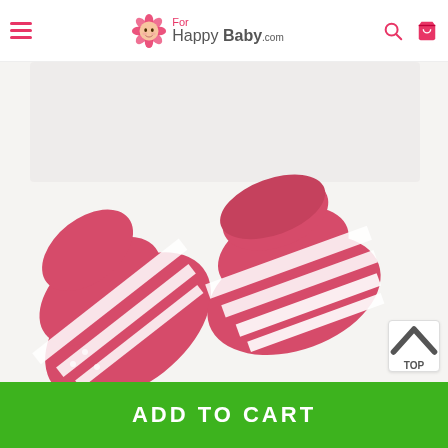For Happy Baby .com — navigation header with hamburger menu, logo, search and cart icons
[Figure (photo): Close-up photo of pink and white striped baby socks on a white background]
TOP
ADD TO CART